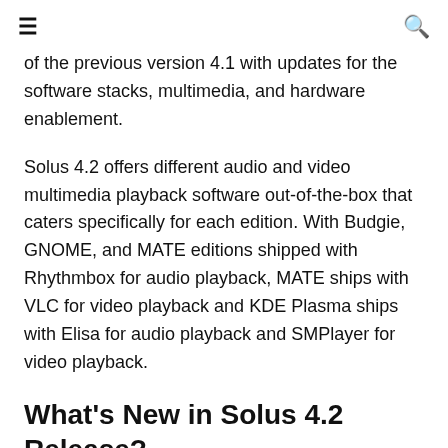≡  🔍
of the previous version 4.1 with updates for the software stacks, multimedia, and hardware enablement.
Solus 4.2 offers different audio and video multimedia playback software out-of-the-box that caters specifically for each edition. With Budgie, GNOME, and MATE editions shipped with Rhythmbox for audio playback, MATE ships with VLC for video playback and KDE Plasma ships with Elisa for audio playback and SMPlayer for video playback.
What's New in Solus 4.2 Release?
Solus 4.2 ships with Linux kernel 5.10.12, which enables